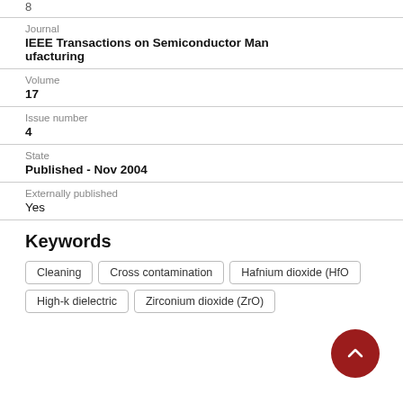8
Journal
IEEE Transactions on Semiconductor Manufacturing
Volume
17
Issue number
4
State
Published - Nov 2004
Externally published
Yes
Keywords
Cleaning
Cross contamination
Hafnium dioxide (HfO
High-k dielectric
Zirconium dioxide (ZrO)